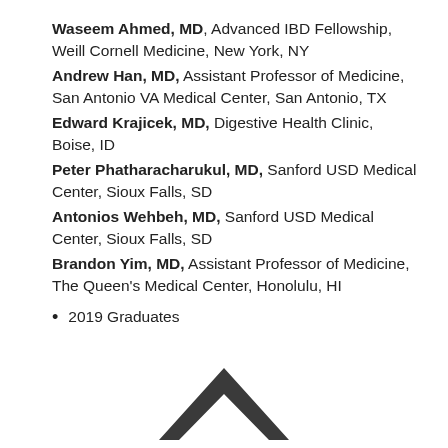Waseem Ahmed, MD, Advanced IBD Fellowship, Weill Cornell Medicine, New York, NY
Andrew Han, MD, Assistant Professor of Medicine, San Antonio VA Medical Center, San Antonio, TX
Edward Krajicek, MD, Digestive Health Clinic, Boise, ID
Peter Phatharacharukul, MD, Sanford USD Medical Center, Sioux Falls, SD
Antonios Wehbeh, MD, Sanford USD Medical Center, Sioux Falls, SD
Brandon Yim, MD, Assistant Professor of Medicine, The Queen's Medical Center, Honolulu, HI
2019 Graduates
[Figure (logo): Upward-pointing chevron/caret logo mark in dark gray, partially visible at bottom of page]